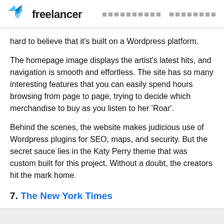freelancer [nav items]
hard to believe that it's built on a Wordpress platform.
The homepage image displays the artist's latest hits, and navigation is smooth and effortless. The site has so many interesting features that you can easily spend hours browsing from page to page, trying to decide which merchandise to buy as you listen to her 'Roar'.
Behind the scenes, the website makes judicious use of Wordpress plugins for SEO, maps, and security. But the secret sauce lies in the Katy Perry theme that was custom built for this project. Without a doubt, the creators hit the mark home.
7. The New York Times